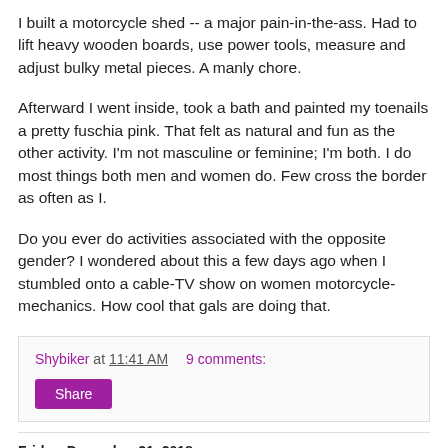I built a motorcycle shed -- a major pain-in-the-ass. Had to lift heavy wooden boards, use power tools, measure and adjust bulky metal pieces. A manly chore.
Afterward I went inside, took a bath and painted my toenails a pretty fuschia pink. That felt as natural and fun as the other activity. I'm not masculine or feminine; I'm both. I do most things both men and women do. Few cross the border as often as I.
Do you ever do activities associated with the opposite gender? I wondered about this a few days ago when I stumbled onto a cable-TV show on women motorcycle-mechanics. How cool that gals are doing that.
Shybiker at 11:41 AM   9 comments:
Share
Friday, December 21, 2018
Sports Mishap